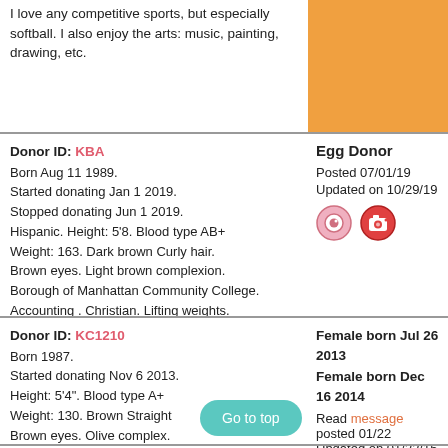I love any competitive sports, but especially softball. I also enjoy the arts: music, painting, drawing, etc.
Donor ID: KBA
Born Aug 11 1989.
Started donating Jan 1 2019.
Stopped donating Jun 1 2019.
Hispanic. Height: 5'8. Blood type AB+
Weight: 163. Dark brown Curly hair.
Brown eyes. Light brown complexion.
Borough of Manhattan Community College.
Accounting . Christian. Lifting weights.
Egg Donor

Posted 07/01/19
Updated on 10/29/19
Donor ID: KC1210
Born 1987.
Started donating Nov 6 2013.
Height: 5'4". Blood type A+
Weight: 130. Brown Straight
Brown eyes. Olive complex.
Master's. Jewish.
Female born Jul 26 2013
Female born Dec 16 2014
Read message posted 01/22
Updated on 01/22/15